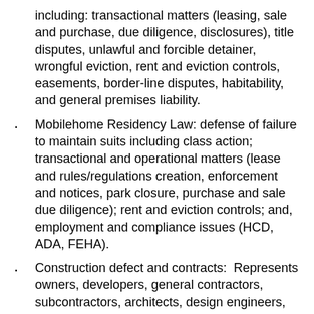including: transactional matters (leasing, sale and purchase, due diligence, disclosures), title disputes, unlawful and forcible detainer, wrongful eviction, rent and eviction controls, easements, border-line disputes, habitability, and general premises liability.
Mobilehome Residency Law: defense of failure to maintain suits including class action; transactional and operational matters (lease and rules/regulations creation, enforcement and notices, park closure, purchase and sale due diligence); rent and eviction controls; and, employment and compliance issues (HCD, ADA, FEHA).
Construction defect and contracts: Represents owners, developers, general contractors, subcontractors, architects, design engineers, material suppliers and product manufacturers in